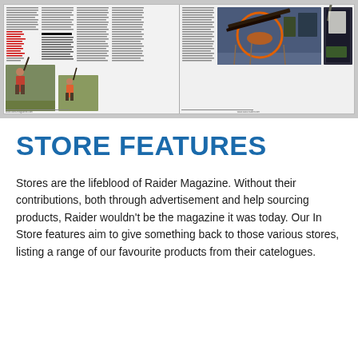[Figure (photo): A thumbnail/preview image of a magazine spread showing two facing pages. The left page has multiple columns of text and two photos of people hunting in a field. The right page has columns of text and two large photos: one of hunting equipment laid out on the ground with an orange vest, and one of firearms in a case. Small page footer URLs visible at bottom.]
STORE FEATURES
Stores are the lifeblood of Raider Magazine. Without their contributions, both through advertisement and help sourcing products, Raider wouldn't be the magazine it was today. Our In Store features aim to give something back to those various stores, listing a range of our favourite products from their catelogues.